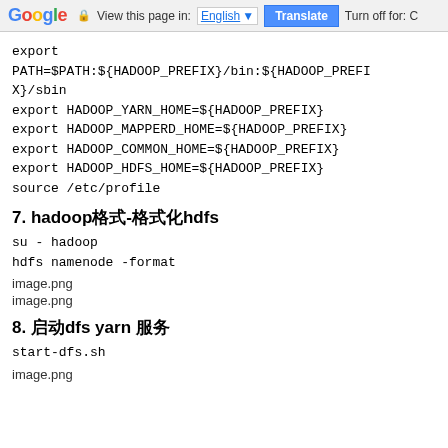Google  View this page in: English [▼]  Translate  Turn off for: C
export
PATH=$PATH:${HADOOP_PREFIX}/bin:${HADOOP_PREFIX}/sbin
export HADOOP_YARN_HOME=${HADOOP_PREFIX}
export HADOOP_MAPPERD_HOME=${HADOOP_PREFIX}
export HADOOP_COMMON_HOME=${HADOOP_PREFIX}
export HADOOP_HDFS_HOME=${HADOOP_PREFIX}
source /etc/profile
7. hadoop格式-格式化hdfs
su - hadoop
hdfs namenode -format
image.png
image.png
8. 启动dfs yarn 服务
start-dfs.sh
image.png